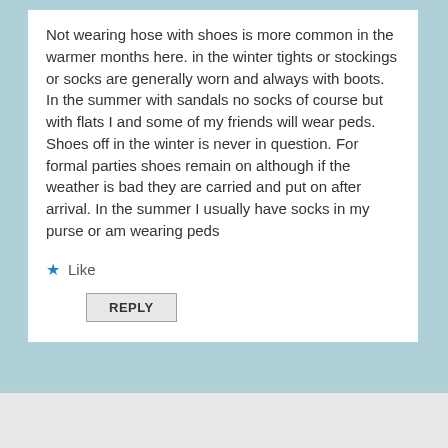Not wearing hose with shoes is more common in the warmer months here. in the winter tights or stockings or socks are generally worn and always with boots. In the summer with sandals no socks of course but with flats I and some of my friends will wear peds. Shoes off in the winter is never in question. For formal parties shoes remain on although if the weather is bad they are carried and put on after arrival. In the summer I usually have socks in my purse or am wearing peds
★ Like
REPLY
Advertisements
[Figure (other): Longreads advertisement banner with red background and tagline: The best stories on the web — ours, and everyone else's.]